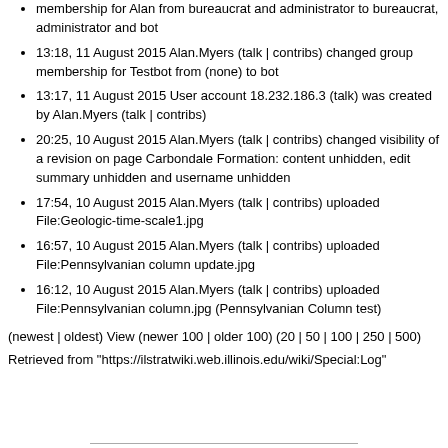membership for Alan from bureaucrat and administrator to bureaucrat, administrator and bot
13:18, 11 August 2015 Alan.Myers (talk | contribs) changed group membership for Testbot from (none) to bot
13:17, 11 August 2015 User account 18.232.186.3 (talk) was created by Alan.Myers (talk | contribs)
20:25, 10 August 2015 Alan.Myers (talk | contribs) changed visibility of a revision on page Carbondale Formation: content unhidden, edit summary unhidden and username unhidden
17:54, 10 August 2015 Alan.Myers (talk | contribs) uploaded File:Geologic-time-scale1.jpg
16:57, 10 August 2015 Alan.Myers (talk | contribs) uploaded File:Pennsylvanian column update.jpg
16:12, 10 August 2015 Alan.Myers (talk | contribs) uploaded File:Pennsylvanian column.jpg (Pennsylvanian Column test)
(newest | oldest) View (newer 100 | older 100) (20 | 50 | 100 | 250 | 500)
Retrieved from "https://ilstratwiki.web.illinois.edu/wiki/Special:Log"